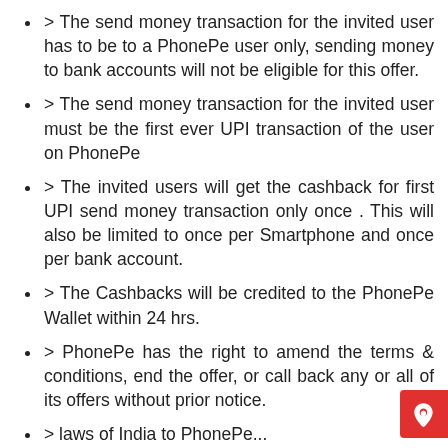> The send money transaction for the invited user has to be to a PhonePe user only, sending money to bank accounts will not be eligible for this offer.
> The send money transaction for the invited user must be the first ever UPI transaction of the user on PhonePe
> The invited users will get the cashback for first UPI send money transaction only once . This will also be limited to once per Smartphone and once per bank account.
> The Cashbacks will be credited to the PhonePe Wallet within 24 hrs.
> PhonePe has the right to amend the terms & conditions, end the offer, or call back any or all of its offers without prior notice.
> laws of India to PhonePe...